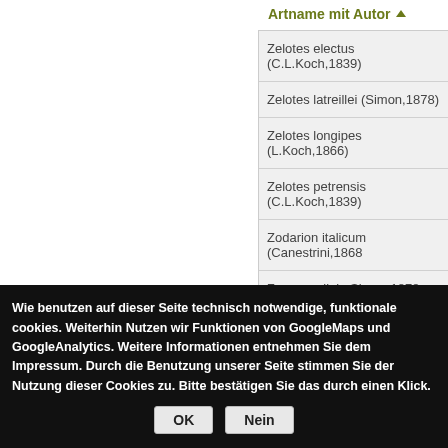| Artname mit Autor |
| --- |
| Zelotes electus (C.L.Koch,1839) |
| Zelotes latreillei (Simon,1878) |
| Zelotes longipes (L.Koch,1866) |
| Zelotes petrensis (C.L.Koch,1839) |
| Zodarion italicum (Canestrini,1868) |
| Zora parallela Simon,1878 |
| Zora spinimana (Sundevall,1833) |
Wie benutzen auf dieser Seite technisch notwendige, funktionale cookies. Weiterhin Nutzen wir Funktionen von GoogleMaps und GoogleAnalytics. Weitere Informationen entnehmen Sie dem Impressum. Durch die Benutzung unserer Seite stimmen Sie der Nutzung dieser Cookies zu. Bitte bestätigen Sie das durch einen Klick.